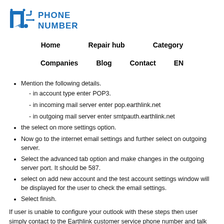[Figure (logo): IT Phone Number logo with blue circuit/tech icon and blue text reading PHONE NUMBER]
Home   Repair hub   Category   Companies   Blog   Contact   EN
Mention the following details.
- in account type enter POP3.
- in incoming mail server enter pop.earthlink.net
- in outgoing mail server enter smtpauth.earthlink.net
the select on more settings option.
Now go to the internet email settings and further select on outgoing server.
Select the advanced tab option and make changes in the outgoing server port. It should be 587.
select on add new account and the test account settings window will be displayed for the user to check the email settings.
Select finish.
If user is unable to configure your outlook with these steps then user simply contact to the Earthlink customer service phone number and talk with the technicians at any time of the day.